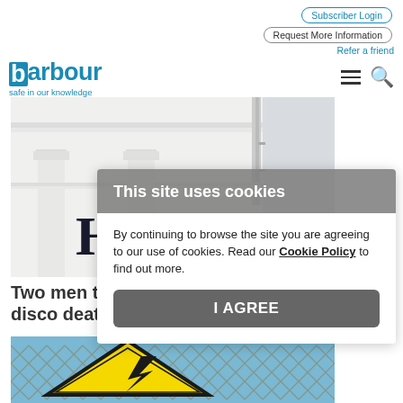Subscriber Login | Request More Information | Refer a friend | Call us: 0845 300 0241
[Figure (logo): Barbour logo with tagline 'safe in our knowledge']
[Figure (photo): Photograph of a white Georgian-style building facade with ornate plasterwork and partial text 'HC']
This site uses cookies
By continuing to browse the site you are agreeing to our use of cookies. Read our Cookie Policy to find out more.
I AGREE
Two men to be disco deaths
[Figure (photo): Photograph of an electric hazard warning sign on a chain-link fence]